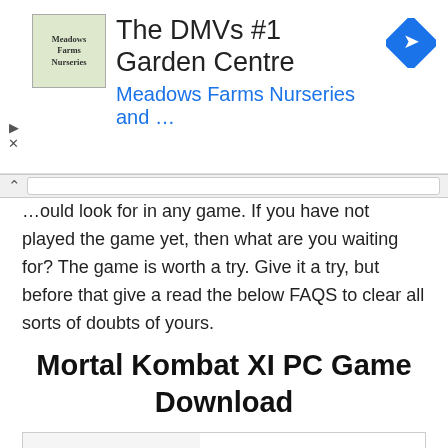[Figure (other): Advertisement banner: 'The DMVs #1 Garden Centre — Meadows Farms Nurseries and ...' with logo and blue arrow icon]
...would look for in any game. If you have not played the game yet, then what are you waiting for? The game is worth a try. Give it a try, but before that give a read the below FAQS to clear all sorts of doubts of yours.
Mortal Kombat XI PC Game Download
| Name | Mortal Kombat XI |
| Initial Release Date | 23 April 2019 |
| Publisher | Warner Bros. Interactive |